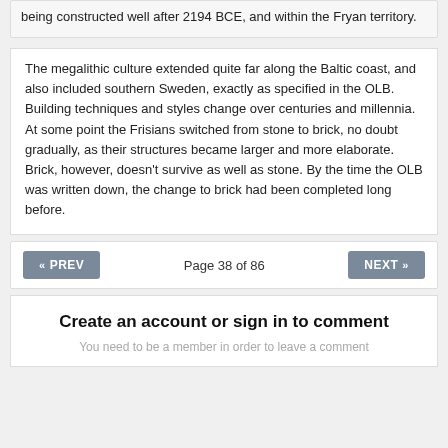being constructed well after 2194 BCE, and within the Fryan territory.
The megalithic culture extended quite far along the Baltic coast, and also included southern Sweden, exactly as specified in the OLB.
Building techniques and styles change over centuries and millennia. At some point the Frisians switched from stone to brick, no doubt gradually, as their structures became larger and more elaborate. Brick, however, doesn't survive as well as stone. By the time the OLB was written down, the change to brick had been completed long before.
Page 38 of 86
Create an account or sign in to comment
You need to be a member in order to leave a comment